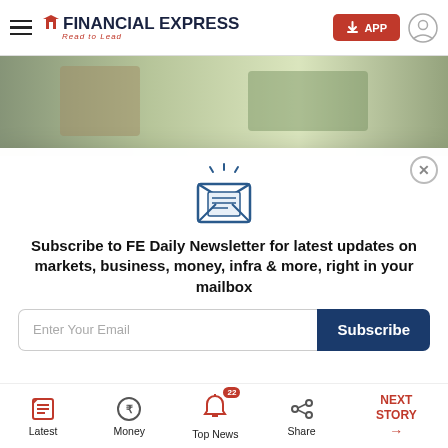FINANCIAL EXPRESS Read to Lead
[Figure (photo): Blurred outdoor photo showing people in background, top portion of page behind header]
[Figure (infographic): Newsletter subscription modal popup with envelope icon, email input field, and subscribe button. Close (X) button in top-right corner.]
Subscribe to FE Daily Newsletter for latest updates on markets, business, money, infra & more, right in your mailbox
[Figure (photo): Blurred photo of dark object (possibly electrical meter/equipment) in lower portion of page]
Latest | Money | Top News 22 | Share | NEXT STORY →